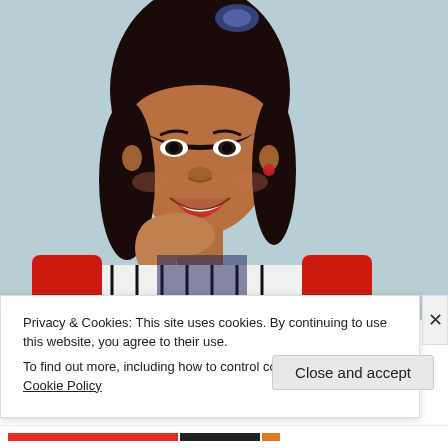[Figure (photo): Portrait photo of a young woman smiling, resting her chin on her hand. She has long dark curly hair with a blue scrunchie, wearing a red and white striped outfit. Light blue background.]
Privacy & Cookies: This site uses cookies. By continuing to use this website, you agree to their use.
To find out more, including how to control cookies, see here: Cookie Policy
Close and accept